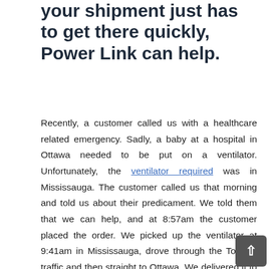your shipment just has to get there quickly, Power Link can help.
Recently, a customer called us with a healthcare related emergency. Sadly, a baby at a hospital in Ottawa needed to be put on a ventilator. Unfortunately, the ventilator required was in Mississauga. The customer called us that morning and told us about their predicament. We told them that we can help, and at 8:57am the customer placed the order. We picked up the ventilator at 9:41am in Mississauga, drove through the Toronto traffic and then straight to Ottawa. We delivered it to the hospital in Ottawa at 4:10pm. The customer and everyone else involved were very grateful, and we were very happy that we could help. Requests like this are very urgent,